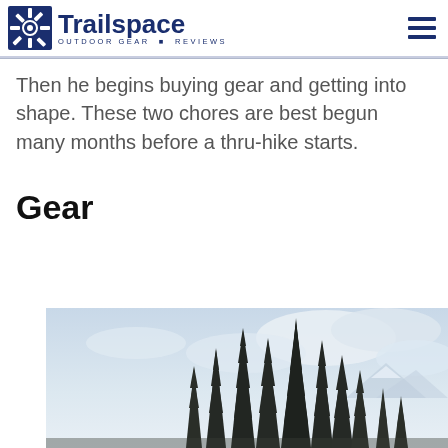Trailspace OUTDOOR GEAR REVIEWS
Then he begins buying gear and getting into shape. These two chores are best begun many months before a thru-hike starts.
Gear
[Figure (photo): Tall evergreen pine trees silhouetted against a misty cloudy sky with snow-capped mountains in the background]